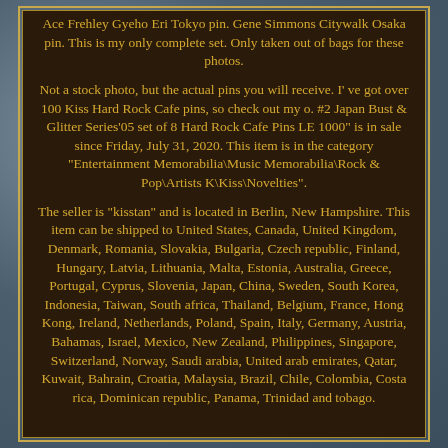Ace Frehley Gyeho Eri Tokyo pin. Gene Simmons Citywalk Osaka pin. This is my only complete set. Only taken out of bags for these photos.
Not a stock photo, but the actual pins you will receive. I' ve got over 100 Kiss Hard Rock Cafe pins, so check out my o. #2 Japan Bust & Glitter Series'05 set of 8 Hard Rock Cafe Pins LE 1000" is in sale since Friday, July 31, 2020. This item is in the category "Entertainment Memorabilia\Music Memorabilia\Rock & Pop\Artists K\Kiss\Novelties".
The seller is "kisstan" and is located in Berlin, New Hampshire. This item can be shipped to United States, Canada, United Kingdom, Denmark, Romania, Slovakia, Bulgaria, Czech republic, Finland, Hungary, Latvia, Lithuania, Malta, Estonia, Australia, Greece, Portugal, Cyprus, Slovenia, Japan, China, Sweden, South Korea, Indonesia, Taiwan, South africa, Thailand, Belgium, France, Hong Kong, Ireland, Netherlands, Poland, Spain, Italy, Germany, Austria, Bahamas, Israel, Mexico, New Zealand, Philippines, Singapore, Switzerland, Norway, Saudi arabia, United arab emirates, Qatar, Kuwait, Bahrain, Croatia, Malaysia, Brazil, Chile, Colombia, Costa rica, Dominican republic, Panama, Trinidad and tobago.